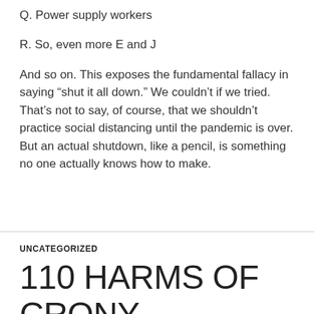Q. Power supply workers
R. So, even more E and J
And so on.  This exposes the fundamental fallacy in saying “shut it all down.”  We couldn’t if we tried.  That’s not to say, of course, that we shouldn’t practice social distancing until the pandemic is over.  But an actual shutdown, like a pencil, is something no one actually knows how to make.
UNCATEGORIZED
110 HARMS OF CRONY CAPITALISM